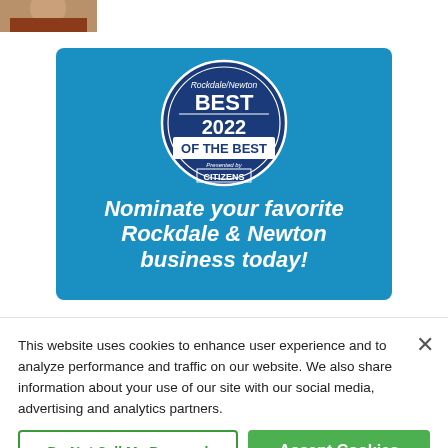[Figure (photo): Partial cropped photo of a person in upper left corner]
[Figure (illustration): Advertisement banner for Rockdale/Newton Best of the Best 2022 presented by Citizens. Blue background with circular badge logo and text 'Nominate your favorite Rockdale & Newton business today!']
This website uses cookies to enhance user experience and to analyze performance and traffic on our website. We also share information about your use of our site with our social media, advertising and analytics partners.
Do Not Sell My Personal Information
Accept Cookies